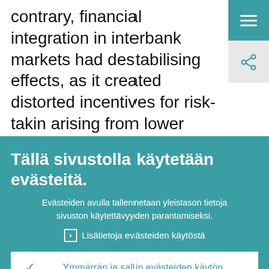contrary, financial integration in interbank markets had destabilising effects, as it created distorted incentives for risk-taking arising from lower financing costs. There was instead a consequent increase in the leveraged positions of domestic financial
[Figure (screenshot): Cookie consent overlay in Finnish on a teal background with two buttons: accept and decline cookies]
Tällä sivustolla käytetään evästeitä.
Evästeiden avulla tallennetaan yleistason tietoja sivuston käytettävyyden parantamiseksi.
Lisätietoja evästeiden käytöstä
Ymmärrän ja sallin evästeiden käytön
En salli evästeiden käyttöä